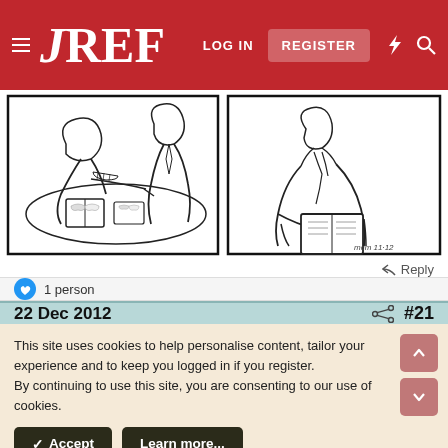JREF — LOG IN | REGISTER
[Figure (illustration): Comic strip panels showing two figures at a table with books and cards, one person writing or gesturing, another reading a book. Signed 'MCM 11-12'.]
Reply
1 person
22 Dec 2012    #21
This site uses cookies to help personalise content, tailor your experience and to keep you logged in if you register.
By continuing to use this site, you are consenting to our use of cookies.
✓ Accept    Learn more...